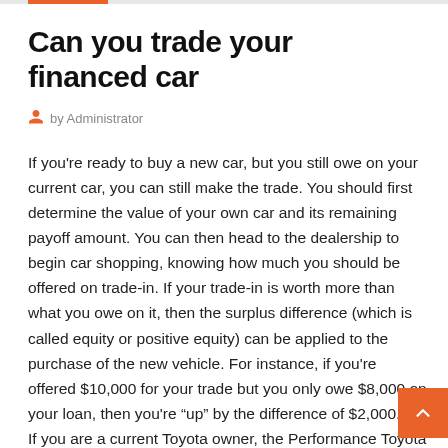Can you trade your financed car
by Administrator
If you're ready to buy a new car, but you still owe on your current car, you can still make the trade. You should first determine the value of your own car and its remaining payoff amount. You can then head to the dealership to begin car shopping, knowing how much you should be offered on trade-in. If your trade-in is worth more than what you owe on it, then the surplus difference (which is called equity or positive equity) can be applied to the purchase of the new vehicle. For instance, if you're offered $10,000 for your trade but you only owe $8,000 on your loan, then you're “up” by the difference of $2,000.
If you are a current Toyota owner, the Performance Toyota Vehicle Exchange Program can allow you to trade up to a new TOYOTA without additional charges or fees.